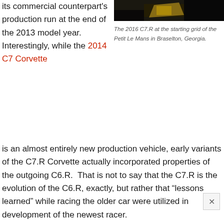[Figure (photo): Dark photo of the 2016 C7.R Corvette at the starting grid, partial view showing yellow/dark elements]
The 2016 C7.R at the starting grid of the Petit Le Mans in Braselton, Georgia.
its commercial counterpart's production run at the end of the 2013 model year. Interestingly, while the 2014 C7 Corvette is an almost entirely new production vehicle, early variants of the C7.R Corvette actually incorporated properties of the outgoing C6.R. That is not to say that the C7.R is the evolution of the C6.R, exactly, but rather that „lessons learned” while racing the older car were utilized in development of the newest racer.